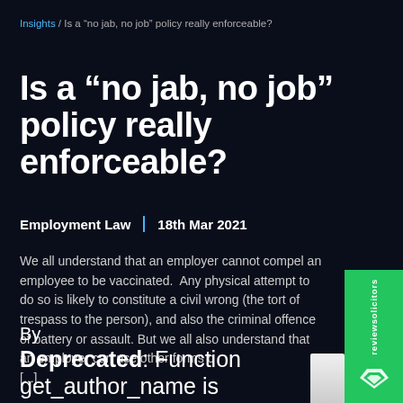Insights / Is a “no jab, no job” policy really enforceable?
Is a “no jab, no job” policy really enforceable?
Employment Law  |  18th Mar 2021
We all understand that an employer cannot compel an employee to be vaccinated.  Any physical attempt to do so is likely to constitute a civil wrong (the tort of trespass to the person), and also the criminal offence of battery or assault. But we all also understand that an employer can use other forms o [...]
By
Deprecated: Function get_author_name is deprecated since version 2.8.0! Use